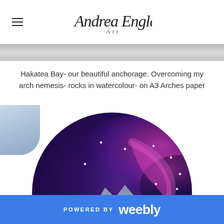Andrea England Art
Hakatea Bay- our beautiful anchorage. Overcoming my arch nemesis- rocks in watercolour- on A3 Arches paper
[Figure (illustration): Circular watercolour painting of a rocky mountain silhouette against a deep purple and pink nebula/galaxy night sky with white star bursts, rendered in watercolour on paper. Partial corner of another watercolour visible at top left.]
POWERED BY weebly